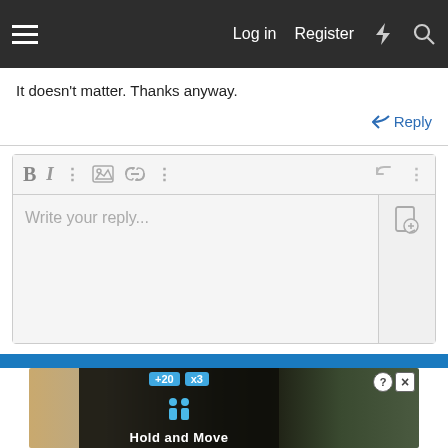Log in  Register
It doesn't matter. Thanks anyway.
Reply
[Figure (screenshot): Text editor / reply box with toolbar icons (B, I, link, image, more options, undo, more, and document search) and placeholder text 'Write your reply...']
Post reply
[Figure (screenshot): Advertisement banner showing a game advertisement for 'Hold and Move' with blue overlay panel, counter badges '+20' and 'x3', close/help buttons, and background showing an outdoor scene with trees.]